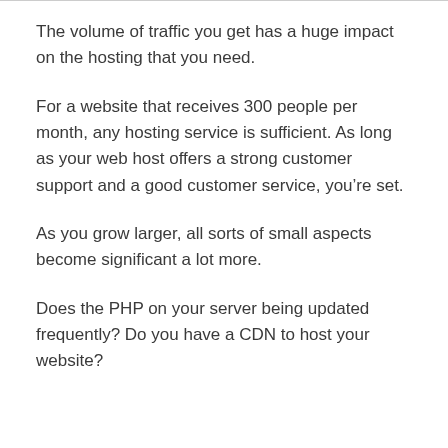The volume of traffic you get has a huge impact on the hosting that you need.
For a website that receives 300 people per month, any hosting service is sufficient. As long as your web host offers a strong customer support and a good customer service, you're set.
As you grow larger, all sorts of small aspects become significant a lot more.
Does the PHP on your server being updated frequently? Do you have a CDN to host your website?